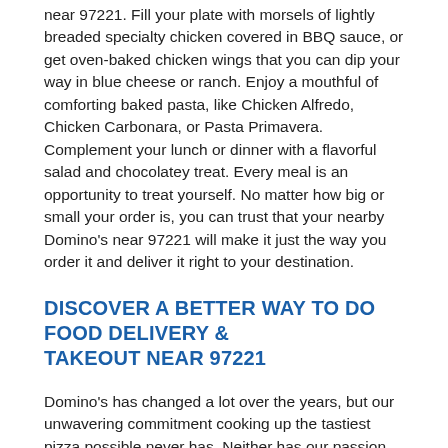near 97221. Fill your plate with morsels of lightly breaded specialty chicken covered in BBQ sauce, or get oven-baked chicken wings that you can dip your way in blue cheese or ranch. Enjoy a mouthful of comforting baked pasta, like Chicken Alfredo, Chicken Carbonara, or Pasta Primavera. Complement your lunch or dinner with a flavorful salad and chocolatey treat. Every meal is an opportunity to treat yourself. No matter how big or small your order is, you can trust that your nearby Domino's near 97221 will make it just the way you order it and deliver it right to your destination.
DISCOVER A BETTER WAY TO DO FOOD DELIVERY & TAKEOUT NEAR 97221
Domino's has changed a lot over the years, but our unwavering commitment cooking up the tastiest pizza possible never has. Neither has our passion for creating technology that makes it super simple for you to have food delivered when and where you want. Take the Domino's Tracker®. This tool gives you a behind-the-scenes look at your pizza's lifecycle, from the moment it's put in the oven to when it leaves our door for yours! And don't forget